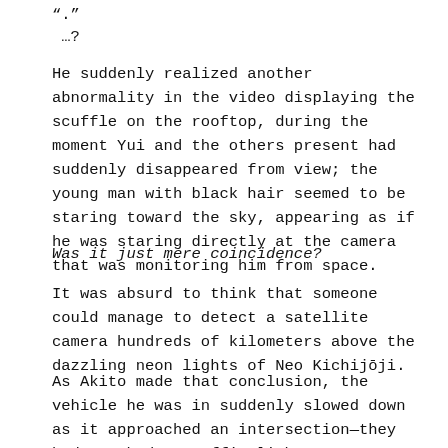“.”
…?
He suddenly realized another abnormality in the video displaying the scuffle on the rooftop, during the moment Yui and the others present had suddenly disappeared from view; the young man with black hair seemed to be staring toward the sky, appearing as if he was staring directly at the camera that was monitoring him from space.
Was it just mere coincidence?
It was absurd to think that someone could manage to detect a satellite camera hundreds of kilometers above the dazzling neon lights of Neo Kichijōji.
As Akito made that conclusion, the vehicle he was in suddenly slowed down as it approached an intersection—they had reached a traffic light